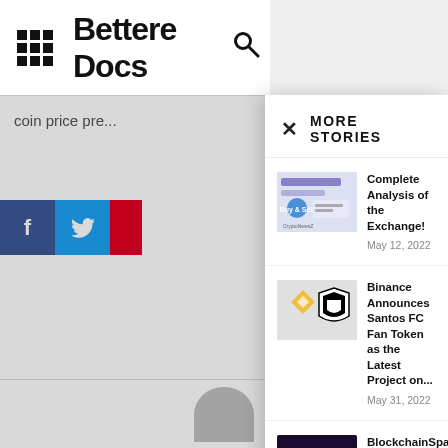Bettere Docs
coin price pre...
f  (social share buttons: Facebook, Twitter, Pinterest)
Previous article
Polygon Proj... Breakout Ah...
MORE STORIES
Complete Analysis of the Exchange!
May 12, 2022
Binance Announces Santos FC Fan Token as the Latest Project on...
May 31, 2022
BlockchainSpace Purchase Court in Realm for Guild Development
May 25, 2022